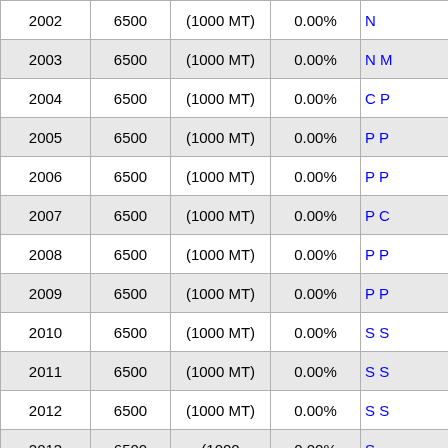| Year | Value | Unit | Percent | Notes |
| --- | --- | --- | --- | --- |
| 2002 | 6500 | (1000 MT) | 0.00% |  |
| 2003 | 6500 | (1000 MT) | 0.00% |  |
| 2004 | 6500 | (1000 MT) | 0.00% |  |
| 2005 | 6500 | (1000 MT) | 0.00% |  |
| 2006 | 6500 | (1000 MT) | 0.00% |  |
| 2007 | 6500 | (1000 MT) | 0.00% |  |
| 2008 | 6500 | (1000 MT) | 0.00% |  |
| 2009 | 6500 | (1000 MT) | 0.00% |  |
| 2010 | 6500 | (1000 MT) | 0.00% |  |
| 2011 | 6500 | (1000 MT) | 0.00% |  |
| 2012 | 6500 | (1000 MT) | 0.00% |  |
| 2013 | 6500 | (1000 | 0.00% |  |